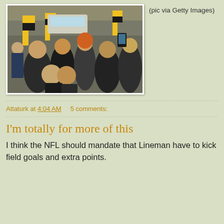[Figure (photo): Crowd scene at a protest or rally with people holding yellow and black flags/signs. Two men appear to be kissing in the foreground. A police officer is visible in the background along with vehicles on a street.]
(pic via Getty Images)
Attaturk at 4:04 AM    5 comments:
I'm totally for more of this
I think the NFL should mandate that Lineman have to kick field goals and extra points.